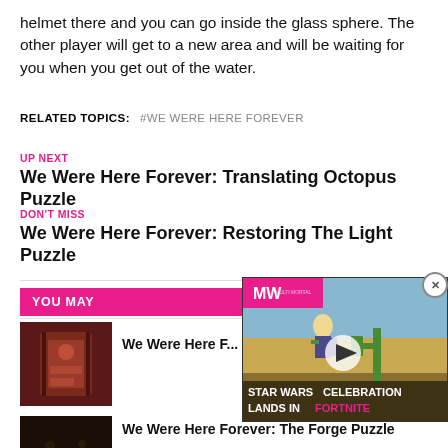helmet there and you can go inside the glass sphere. The other player will get to a new area and will be waiting for you when you get out of the water.
RELATED TOPICS: #WE WERE HERE FOREVER
UP NEXT
We Were Here Forever: Translating Octopus Puzzle
DON'T MISS
We Were Here Forever: Restoring The Light Puzzle
YOU MAY
[Figure (photo): Thumbnail image for We Were Here Forever article - dark reddish game scene]
We Were Here F...
[Figure (photo): Thumbnail image for We Were Here Forever: The Forge Puzzle - dark game scene]
We Were Here Forever: The Forge Puzzle
[Figure (screenshot): Advertisement overlay - Star Wars Celebration Lands in Fortnite - MW logo with game scene background]